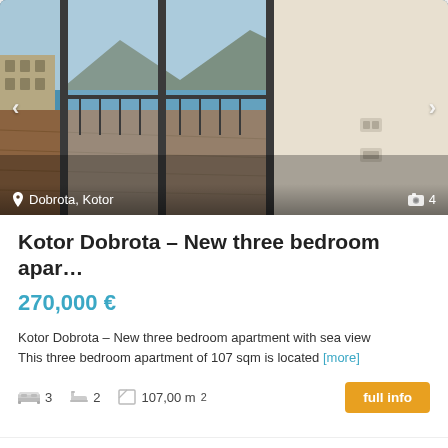[Figure (photo): Interior photo of apartment with balcony doors open, sea and mountain view in background, wood floor. Location: Dobrota, Kotor. Photo count: 4.]
Kotor Dobrota – New three bedroom apar…
270,000 €
Kotor Dobrota – New three bedroom apartment with sea view This three bedroom apartment of 107 sqm is located [more]
3  2  107,00 m²  full info
[Figure (photo): Partial photo of a second property listing showing rocky/stone architecture under blue sky]